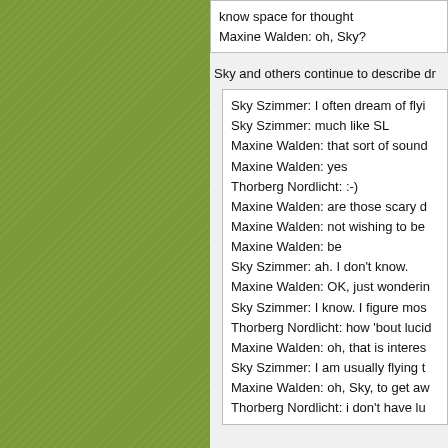know space for thought
Maxine Walden: oh, Sky?
Sky and others continue to describe dr...
Sky Szimmer: I often dream of flyi...
Sky Szimmer: much like SL
Maxine Walden: that sort of sound...
Maxine Walden: yes
Thorberg Nordlicht: :-)
Maxine Walden: are those scary d...
Maxine Walden: not wishing to be...
Maxine Walden: be
Sky Szimmer: ah. I don't know.
Maxine Walden: OK, just wonderin...
Sky Szimmer: I know. I figure mos...
Thorberg Nordlicht: how 'bout lucid...
Maxine Walden: oh, that is interes...
Sky Szimmer: I am usually flying t...
Maxine Walden: oh, Sky, to get aw...
Thorberg Nordlicht: i don't have lu...